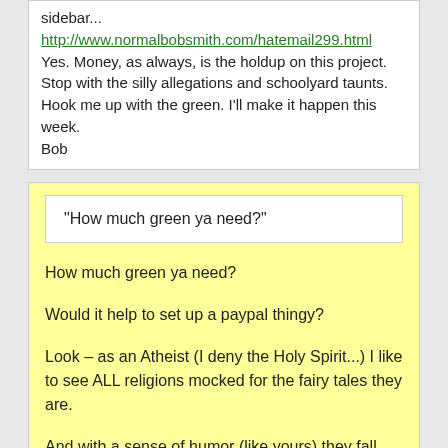sidebar... http://www.normalbobsmith.com/hatemail299.html
Yes. Money, as always, is the holdup on this project.
Stop with the silly allegations and schoolyard taunts. Hook me up with the green. I'll make it happen this week.
Bob
“How much green ya need?”
How much green ya need?

Would it help to set up a paypal thingy?

Look – as an Atheist (I deny the Holy Spirit...) I like to see ALL religions mocked for the fairy tales they are.

And with a sense of humor (like yours) they fall like dominoes 🙂

Mark Kregel